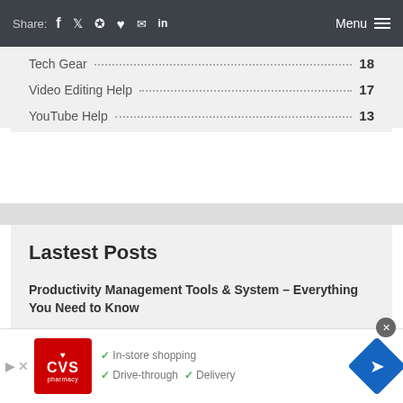Share: [social icons] Menu
Tech Gear .............. 18
Video Editing Help .............. 17
YouTube Help .............. 13
Lastest Posts
Productivity Management Tools & System – Everything You Need to Know
How to Insert Microsoft Excel Data into Microsoft Word and PowerPoint
[Figure (infographic): CVS Pharmacy advertisement banner with checkmarks listing In-store shopping, Drive-through, and Delivery. Blue diamond arrow icon on right.]